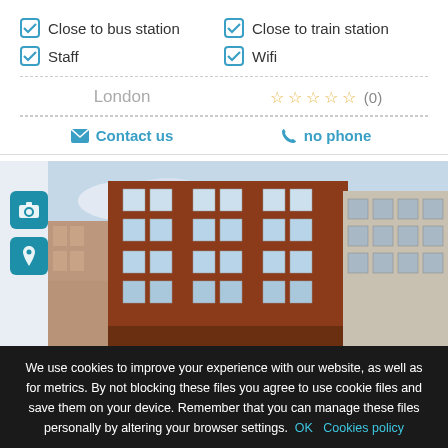✔ Close to bus station
✔ Close to train station
✔ Staff
✔ Wifi
London
☆☆☆☆☆ (0)
✉ Contact us    ☎ no phone
[Figure (photo): Exterior photograph of a multi-storey red brick building in London, several floors with white-framed windows, cloudy sky visible]
We use cookies to improve your experience with our website, as well as for metrics. By not blocking these files you agree to use cookie files and save them on your device. Remember that you can manage these files personally by altering your browser settings. OK   Cookies policy